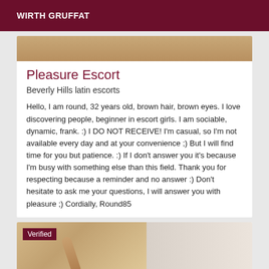WIRTH GRUFFAT
[Figure (photo): Partial photo of a person shown at top of listing card]
Pleasure Escort
Beverly Hills latin escorts
Hello, I am round, 32 years old, brown hair, brown eyes. I love discovering people, beginner in escort girls. I am sociable, dynamic, frank. :) I DO NOT RECEIVE! I'm casual, so I'm not available every day and at your convenience ;) But I will find time for you but patience. :) If I don't answer you it's because I'm busy with something else than this field. Thank you for respecting because a reminder and no answer :) Don't hesitate to ask me your questions, I will answer you with pleasure ;) Cordially, Round85
[Figure (photo): Bottom preview card showing a person photo with Verified badge]